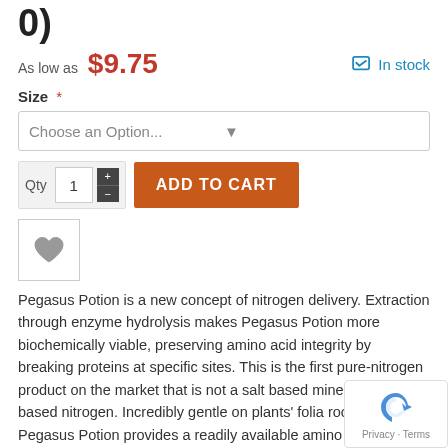0)
As low as $9.75
In stock
Size *
Choose an Option...
[Figure (screenshot): Quantity selector with +/- buttons showing value 1, and orange ADD TO CART button]
[Figure (illustration): Heart/wishlist icon in a bordered square box]
Pegasus Potion is a new concept of nitrogen delivery. Extraction through enzyme hydrolysis makes Pegasus Potion more biochemically viable, preserving amino acid integrity by breaking proteins at specific sites. This is the first pure-nitrogen product on the market that is not a salt based mineral or urea-based nitrogen. Incredibly gentle on plants' folia root zone, Pegasus Potion provides a readily available amino ac nitrogen source.